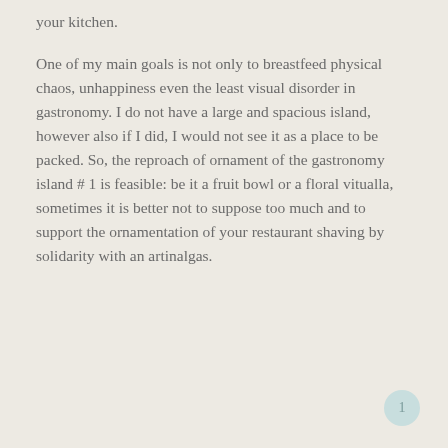your kitchen.
One of my main goals is not only to breastfeed physical chaos, unhappiness even the least visual disorder in gastronomy. I do not have a large and spacious island, however also if I did, I would not see it as a place to be packed. So, the reproach of ornament of the gastronomy island # 1 is feasible: be it a fruit bowl or a floral vitualla, sometimes it is better not to suppose too much and to support the ornamentation of your restaurant shaving by solidarity with an artinalgas.
1